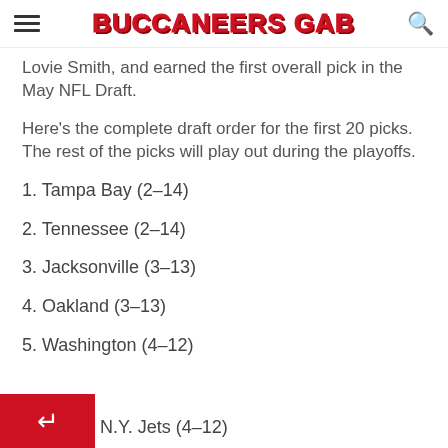BUCCANEERS GAB
Lovie Smith, and earned the first overall pick in the May NFL Draft.
Here's the complete draft order for the first 20 picks. The rest of the picks will play out during the playoffs.
1. Tampa Bay (2-14)
2. Tennessee (2-14)
3. Jacksonville (3-13)
4. Oakland (3-13)
5. Washington (4-12)
6. N.Y. Jets (4-12)